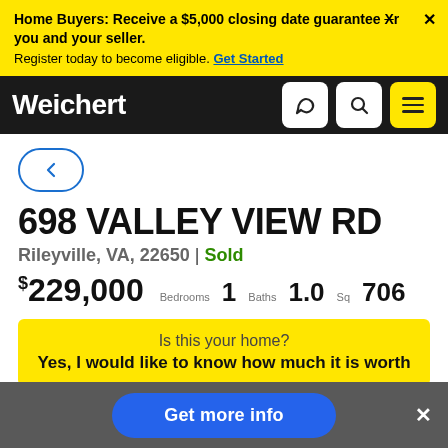Home Buyers: Receive a $5,000 closing date guarantee Xr you and your seller. Register today to become eligible. Get Started
[Figure (logo): Weichert logo in white on black navbar with phone, search, and menu icons]
[Figure (other): Back arrow button with blue border]
698 VALLEY VIEW RD
Rileyville, VA, 22650 | Sold
$ 229,000  Bedrooms 1  Baths 1.0  Sq 706
Is this your home? Yes, I would like to know how much it is worth
Get more info